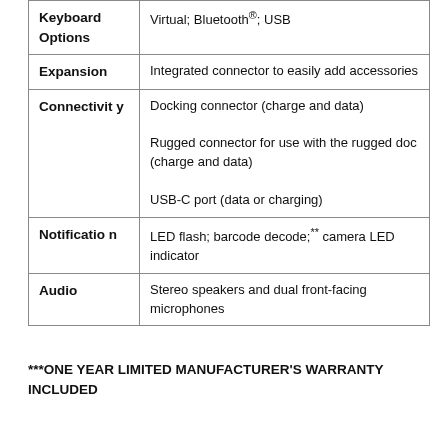| Feature | Description |
| --- | --- |
| Keyboard Options | Virtual; Bluetooth®; USB |
| Expansion | Integrated connector to easily add accessories |
| Connectivity | Docking connector (charge and data)
Rugged connector for use with the rugged doc (charge and data)
USB-C port (data or charging) |
| Notification | LED flash; barcode decode;** camera LED indicator |
| Audio | Stereo speakers and dual front-facing microphones |
***ONE YEAR LIMITED MANUFACTURER'S WARRANTY INCLUDED